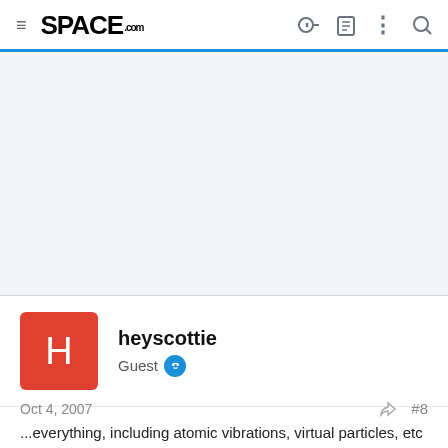SPACE.com
[Figure (other): Light gray advertisement placeholder area]
heyscottie
Guest
Oct 4, 2007  #8
...everything, including atomic vibrations, virtual particles, etc all